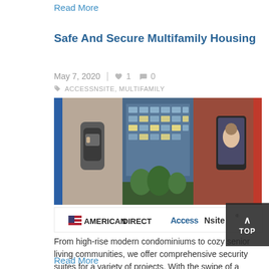Read More
Safe And Secure Multifamily Housing
May 7, 2020  |  ♥ 1  💬 0
ACCESSNSITE, MULTIFAMILY
[Figure (photo): Composite image showing a smart door lock, a modern multifamily building at night, and a person using a smartphone on a brick wall reader. Branded with American Direct and AccessNsite logos.]
From high-rise modern condominiums to cozy senior living communities, we offer comprehensive security suites for a variety of projects. With the swipe of a badge,...
Read More